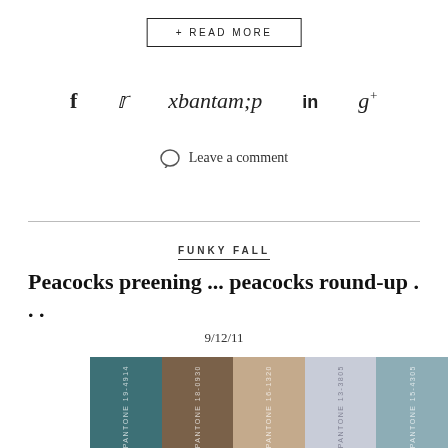+ READ MORE
[Figure (infographic): Social share icons: Facebook (f), Twitter (bird), Pinterest (p), LinkedIn (in), Google+ (g+)]
Leave a comment
FUNKY FALL
Peacocks preening ... peacocks round-up . . .
9/12/11
[Figure (infographic): Pantone color swatches: PANTONE 19-4914 (dark teal), PANTONE 18-0930 (brown), PANTONE 16-1320 (beige/tan), PANTONE 13-3805 (light lavender/grey), PANTONE 15-4305 (blue-grey)]